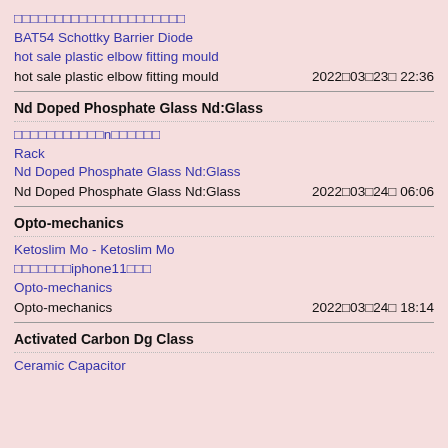□□□□□□□□□□□□□□□□□□□□□
BAT54 Schottky Barrier Diode
hot sale plastic elbow fitting mould
hot sale plastic elbow fitting mould    2022□03□23□ 22:36
Nd Doped Phosphate Glass Nd:Glass
□□□□□□□□□□□n□□□□□□
Rack
Nd Doped Phosphate Glass Nd:Glass
Nd Doped Phosphate Glass Nd:Glass    2022□03□24□ 06:06
Opto-mechanics
Ketoslim Mo - Ketoslim Mo
□□□□□□□iphone11□□□
Opto-mechanics
Opto-mechanics    2022□03□24□ 18:14
Activated Carbon Dg Class
Ceramic Capacitor